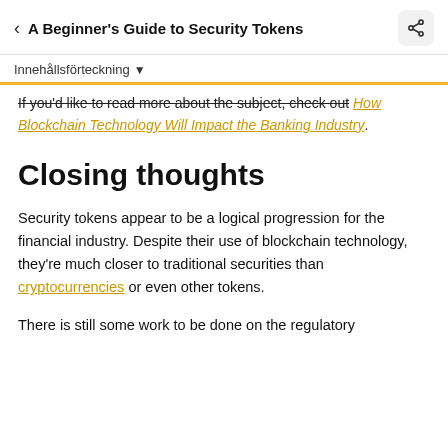< A Beginner's Guide to Security Tokens
Innehållsförteckning ▾
If you'd like to read more about the subject, check out How Blockchain Technology Will Impact the Banking Industry.
Closing thoughts
Security tokens appear to be a logical progression for the financial industry. Despite their use of blockchain technology, they're much closer to traditional securities than cryptocurrencies or even other tokens.
There is still some work to be done on the regulatory…